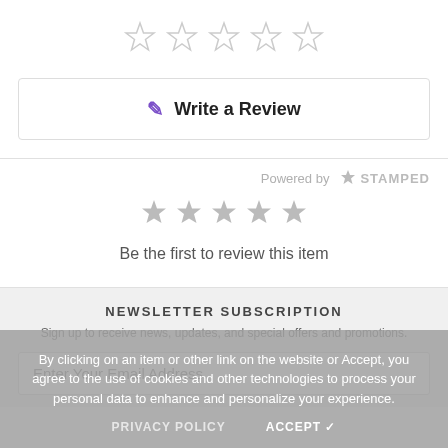[Figure (other): Five empty star rating icons in a row]
Write a Review
Powered by STAMPED
[Figure (other): Five filled grey star rating icons]
Be the first to review this item
NEWSLETTER SUBSCRIPTION
Sign up to receive news, updates, and special offers and promotions.
Enter Your Email Address
By clicking on an item or other link on the website or Accept, you agree to the use of cookies and other technologies to process your personal data to enhance and personalize your experience.
PRIVACY POLICY
ACCEPT ✓